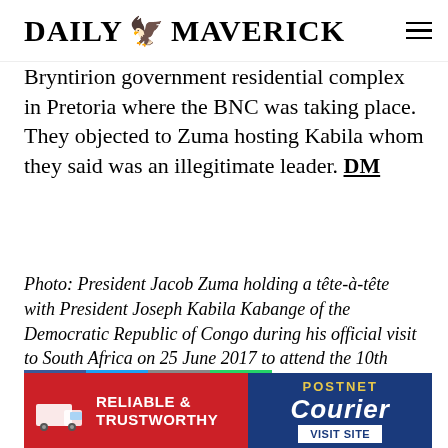DAILY MAVERICK
Bryntirion government residential complex in Pretoria where the BNC was taking place. They objected to Zuma hosting Kabila whom they said was an illegitimate leader. DM
Photo: President Jacob Zuma holding a tête-à-tête with President Joseph Kabila Kabange of the Democratic Republic of Congo during his official visit to South Africa on 25 June 2017 to attend the 10th session of the South Africa-Democratic Republic of Congo Bi-National Commission (BNC. (Photo: GCIS)
[Figure (infographic): Social sharing buttons: Facebook (blue), Twitter (light blue), Email (grey), WhatsApp (green)]
[Figure (infographic): PostNet Courier advertisement banner: red section with white delivery truck icon and text RELIABLE & TRUSTWORTHY, blue section with PostNet logo, Courier text, and VISIT SITE button]